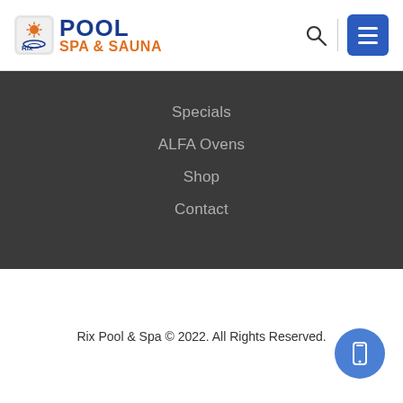[Figure (logo): Rix Pool Spa & Sauna logo with sun icon and blue/orange text]
Specials
ALFA Ovens
Shop
Contact
Rix Pool & Spa © 2022. All Rights Reserved.